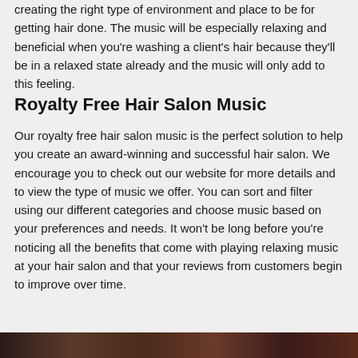creating the right type of environment and place to be for getting hair done. The music will be especially relaxing and beneficial when you're washing a client's hair because they'll be in a relaxed state already and the music will only add to this feeling.
Royalty Free Hair Salon Music
Our royalty free hair salon music is the perfect solution to help you create an award-winning and successful hair salon. We encourage you to check out our website for more details and to view the type of music we offer. You can sort and filter using our different categories and choose music based on your preferences and needs. It won't be long before you're noticing all the benefits that come with playing relaxing music at your hair salon and that your reviews from customers begin to improve over time.
[Figure (photo): A horizontal strip photo at the bottom of the page showing a hair salon scene]